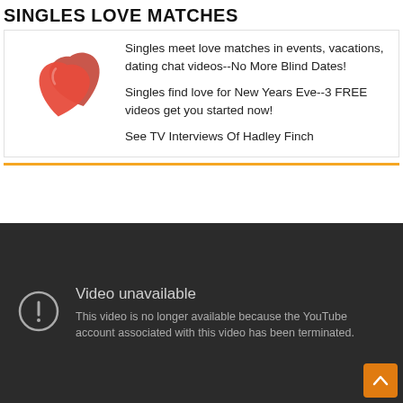SINGLES LOVE MATCHES
[Figure (illustration): Two interlocked red 3D hearts icon]
Singles meet love matches in events, vacations, dating chat videos--No More Blind Dates!

Singles find love for New Years Eve--3 FREE videos get you started now!

See TV Interviews Of Hadley Finch
[Figure (screenshot): YouTube video unavailable error screen on dark background. Shows exclamation mark circle icon with text 'Video unavailable' and 'This video is no longer available because the YouTube account associated with this video has been terminated.']